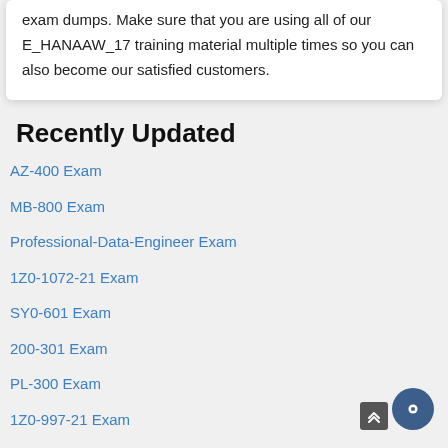exam dumps. Make sure that you are using all of our E_HANAAW_17 training material multiple times so you can also become our satisfied customers.
Recently Updated
AZ-400 Exam
MB-800 Exam
Professional-Data-Engineer Exam
1Z0-1072-21 Exam
SY0-601 Exam
200-301 Exam
PL-300 Exam
1Z0-997-21 Exam
DVA-C01 Exam